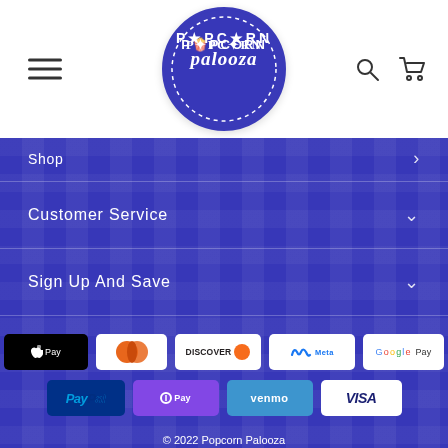[Figure (logo): Popcorn Palooza circular logo in dark blue with white text and dotted border]
Shop
Customer Service
Sign Up And Save
[Figure (infographic): Payment method icons: American Express, Apple Pay, Diners Club, Discover, Meta Pay, Google Pay, Mastercard, PayPal, OPay, Venmo, Visa]
© 2022 Popcorn Palooza